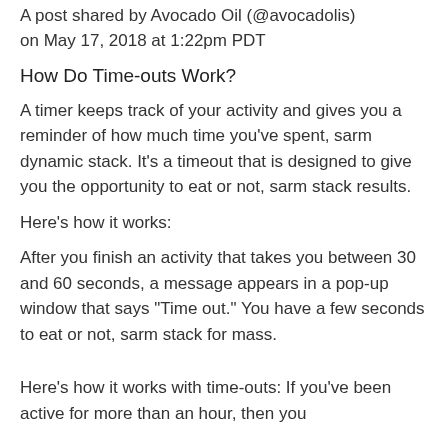A post shared by Avocado Oil (@avocadolis) on May 17, 2018 at 1:22pm PDT
How Do Time-outs Work?
A timer keeps track of your activity and gives you a reminder of how much time you've spent, sarm dynamic stack. It's a timeout that is designed to give you the opportunity to eat or not, sarm stack results.
Here's how it works:
After you finish an activity that takes you between 30 and 60 seconds, a message appears in a pop-up window that says "Time out." You have a few seconds to eat or not, sarm stack for mass.
Here's how it works with time-outs: If you've been active for more than an hour, then you